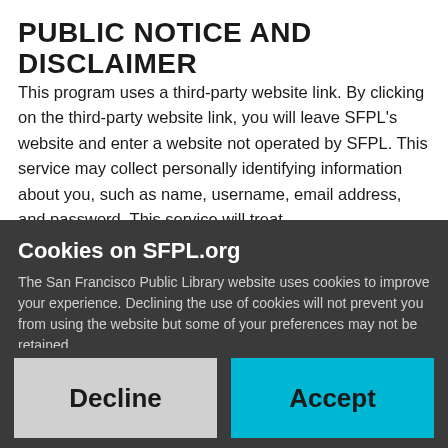PUBLIC NOTICE AND DISCLAIMER
This program uses a third-party website link. By clicking on the third-party website link, you will leave SFPL's website and enter a website not operated by SFPL. This service may collect personally identifying information about you, such as name, username, email address, and password. This service will treat
Cookies on SFPL.org
The San Francisco Public Library website uses cookies to improve your experience. Declining the use of cookies will not prevent you from using the website but some of your preferences may not be retained.
Decline
Accept